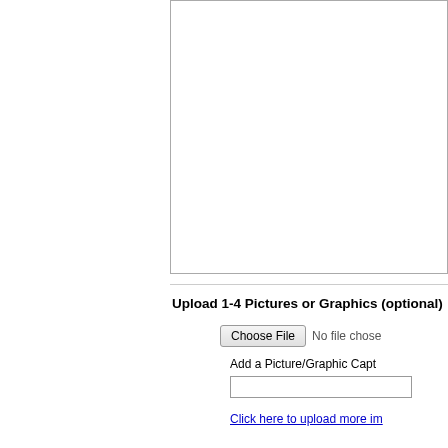[Figure (other): Empty text box / input area with border on the right panel, top portion of the page]
Upload 1-4 Pictures or Graphics (optional)
Choose File  No file chose
Add a Picture/Graphic Capt
Click here to upload more im